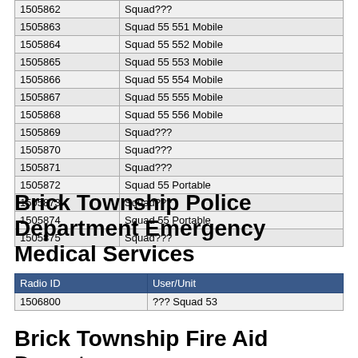| Radio ID | User/Unit |
| --- | --- |
| 1505862 | Squad??? |
| 1505863 | Squad 55 551 Mobile |
| 1505864 | Squad 55 552 Mobile |
| 1505865 | Squad 55 553 Mobile |
| 1505866 | Squad 55 554 Mobile |
| 1505867 | Squad 55 555 Mobile |
| 1505868 | Squad 55 556 Mobile |
| 1505869 | Squad??? |
| 1505870 | Squad??? |
| 1505871 | Squad??? |
| 1505872 | Squad 55 Portable |
| 1505873 | Squad??? |
| 1505874 | Squad 55 Portable |
| 1505875 | Squad??? |
Brick Township Police Department Emergency Medical Services
| Radio ID | User/Unit |
| --- | --- |
| 1506800 | ??? Squad 53 |
Brick Township Fire Aid Depart...